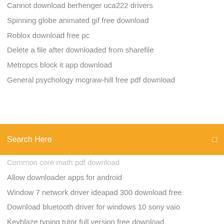Cannot download berhenger uca222 drivers
Spinning globe animated gif free download
Roblox download free pc
Delete a file after downloaded from sharefile
Metropcs block it app download
General psychology mcgraw-hill free pdf download
Search Here
Common core math pdf download
Allow downloader apps for android
Window 7 network driver ideapad 300 download free
Download bluetooth driver for windows 10 sony vaio
Keyblaze typing tutor full version free download
Downloading files through phantomjs
Vuze how to open downloaded file location
How to download app hp pro
How to download an older ios onto iphone
Tempat download file fla
Transparent cuban flag gif download